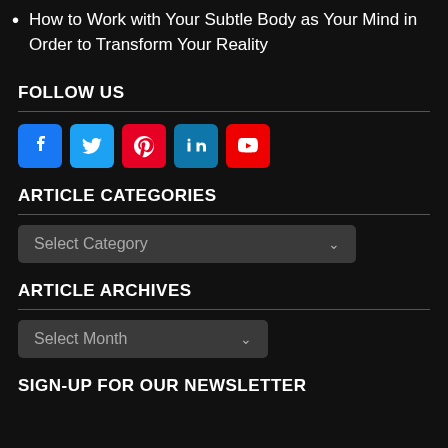How to Work with Your Subtle Body as Your Mind in Order to Transform Your Reality
FOLLOW US
[Figure (infographic): Row of 5 social media icon buttons: Facebook (blue), Twitter (light blue), Pinterest (red), LinkedIn (teal), YouTube (red)]
ARTICLE CATEGORIES
[Figure (screenshot): Dropdown select box labeled 'Select Category']
ARTICLE ARCHIVES
[Figure (screenshot): Dropdown select box labeled 'Select Month']
SIGN-UP FOR OUR NEWSLETTER